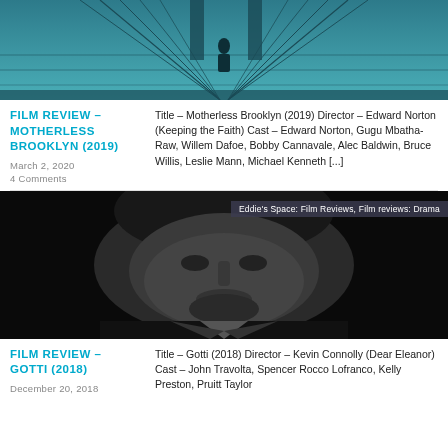[Figure (photo): Dark teal-toned photo of a figure standing on a bridge (Brooklyn Bridge), shot from below showing bridge cables and towers]
FILM REVIEW – MOTHERLESS BROOKLYN (2019)
March 2, 2020
4 Comments
Title – Motherless Brooklyn (2019) Director – Edward Norton (Keeping the Faith) Cast – Edward Norton, Gugu Mbatha-Raw, Willem Dafoe, Bobby Cannavale, Alec Baldwin, Bruce Willis, Leslie Mann, Michael Kenneth [...]
[Figure (photo): Black and white close-up photo of a stern-faced middle-aged man in a suit, with a tag reading: Eddie's Space: Film Reviews, Film reviews: Drama]
FILM REVIEW – GOTTI (2018)
December 20, 2018
Title – Gotti (2018) Director – Kevin Connolly (Dear Eleanor) Cast – John Travolta, Spencer Rocco Lofranco, Kelly Preston, Pruitt Taylor